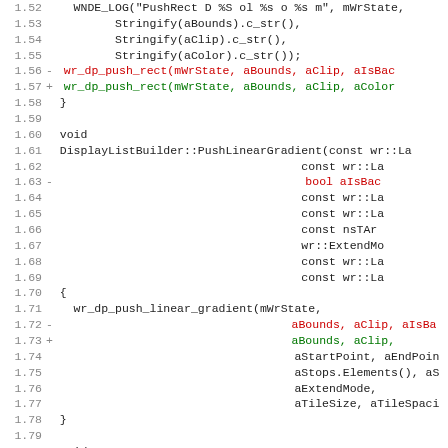[Figure (screenshot): Code diff view showing C++ source code with line numbers 1.52 to 1.84, including function definitions for DisplayListBuilder::PushLinearGradient and PushRadialGradient with red (removed) and green (added) diff lines.]